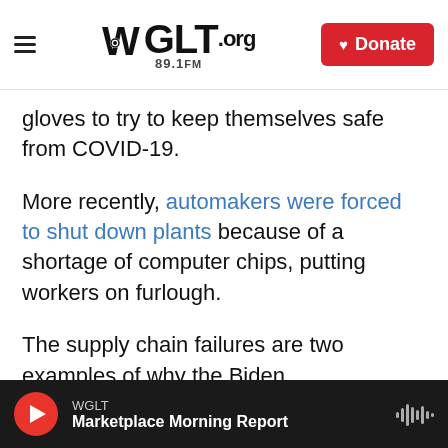WGLT.org 89.1FM | Donate
gloves to try to keep themselves safe from COVID-19.
More recently, automakers were forced to shut down plants because of a shortage of computer chips, putting workers on furlough.
The supply chain failures are two examples of why the Biden administration wants to jump-start production of critical materials that go into cellphones, computers, cars, medicine and other sectors.
"The American people shouldn't face shortages...
WGLT — Marketplace Morning Report